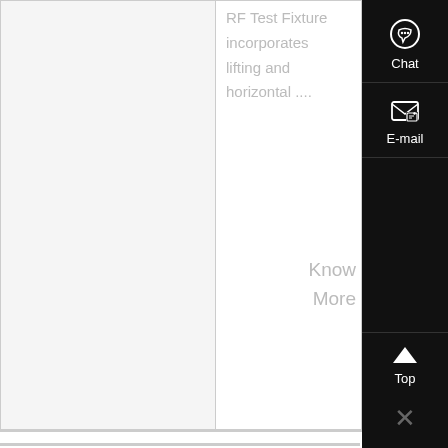RF Test Fixture incorporates lifting and horizontal ....
Know More
[Figure (photo): Industrial mining/processing facility with white dusty structures and equipment against a pale sky]
vibrating feeder with dosage adjustment - minemining
vibrating feeder with dosage adjustment , Vibrating